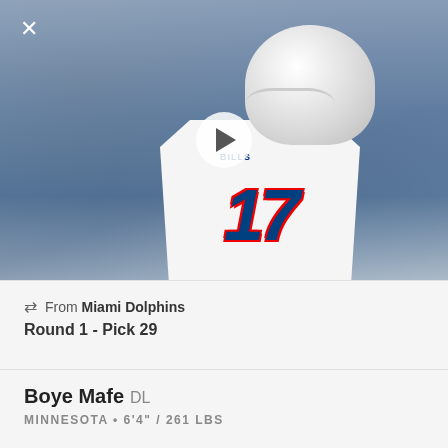[Figure (photo): Buffalo Bills player wearing white jersey number 17, white helmet with Bills logo, smiling on field with blurred crowd in background. Play button overlay in center.]
From Miami Dolphins
Round 1 - Pick 29
Boye Mafe DL
MINNESOTA • 6'4" / 261 LBS